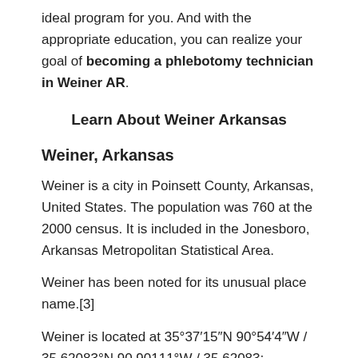ideal program for you. And with the appropriate education, you can realize your goal of becoming a phlebotomy technician in Weiner AR.
Learn About Weiner Arkansas
Weiner, Arkansas
Weiner is a city in Poinsett County, Arkansas, United States. The population was 760 at the 2000 census. It is included in the Jonesboro, Arkansas Metropolitan Statistical Area.
Weiner has been noted for its unusual place name.[3]
Weiner is located at 35°37′15″N 90°54′4″W / 35.62083°N 90.90111°W / 35.62083; -90.90111 (35.620713, -90.901107). [4]